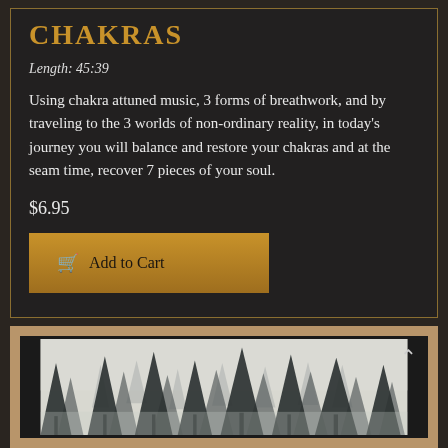CHAKRAS
Length: 45:39
Using chakra attuned music, 3 forms of breathwork, and by traveling to the 3 worlds of non-ordinary reality, in today's journey you will balance and restore your chakras and at the seam time, recover 7 pieces of your soul.
$6.95
Add to Cart
[Figure (photo): Misty forest scene with tall dark evergreen trees in fog, framed with a dark border inside a tan/gold frame. Navigation arrow (chevron up) visible at top right.]